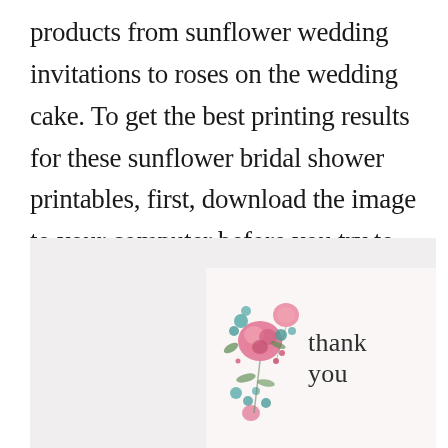products from sunflower wedding invitations to roses on the wedding cake. To get the best printing results for these sunflower bridal shower printables, first, download the image to your computer before you try to print.
[Figure (photo): A light gray background with a partial view of a floral thank you card in the bottom right. The card shows pink and teal flowers on the left side and 'thank you' text in a serif font on the right.]